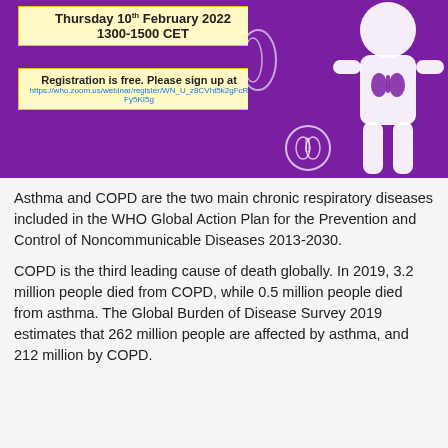[Figure (illustration): Purple banner with white silhouette of a person with respiratory system illustration, yellow registration boxes showing Thursday 10th February 2022, 1300-1500 CET, and registration link]
Asthma and COPD are the two main chronic respiratory diseases included in the WHO Global Action Plan for the Prevention and Control of Noncommunicable Diseases 2013-2030.
COPD is the third leading cause of death globally. In 2019, 3.2 million people died from COPD, while 0.5 million people died from asthma. The Global Burden of Disease Survey 2019 estimates that 262 million people are affected by asthma, and 212 million by COPD.